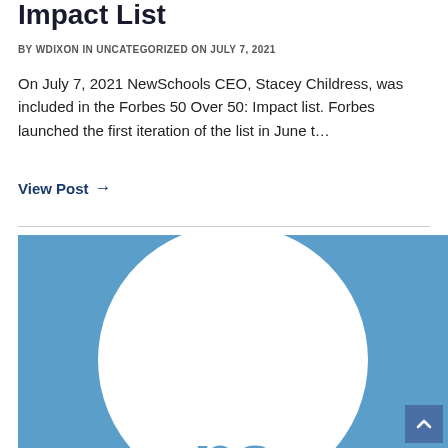Impact List
BY WDIXON IN UNCATEGORIZED ON JULY 7, 2021
On July 7, 2021 NewSchools CEO, Stacey Childress, was included in the Forbes 50 Over 50: Impact list. Forbes launched the first iteration of the list in June t…
View Post →
[Figure (logo): NewSchools Venture Fund logo — white circle with blue 'ns' letters on a blue background]